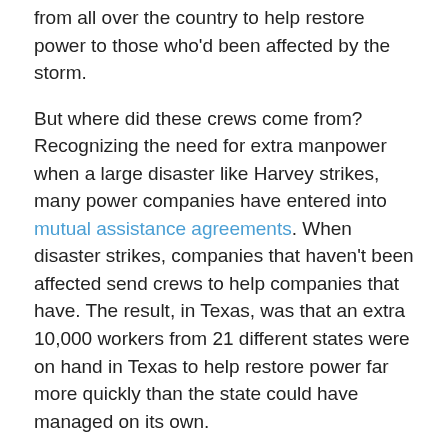from all over the country to help restore power to those who'd been affected by the storm.
But where did these crews come from? Recognizing the need for extra manpower when a large disaster like Harvey strikes, many power companies have entered into mutual assistance agreements. When disaster strikes, companies that haven't been affected send crews to help companies that have. The result, in Texas, was that an extra 10,000 workers from 21 different states were on hand in Texas to help restore power far more quickly than the state could have managed on its own.
Mutual assistance agreements between power providers exist in Canada as well. When severe winter storms hit Ontario and the Eastern Provinces in December of 2013, leaving 450,000 customers in Southern Ontario without power, neighbouring utilities played a role in providing mutual assistance to those that were affected.